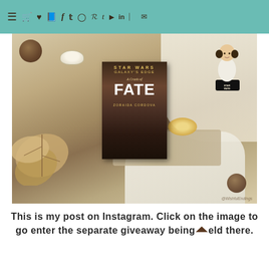Navigation bar with menu and social media icons
[Figure (photo): Instagram post photo showing a Star Wars: Galaxy's Edge 'A Crash of Fate' by Zoraida Cordova book flat lay with a Princess Leia Funko Pop figure, candles, and autumn leaves on a white background. Watermark: @WishfulEndings]
This is my post on Instagram. Click on the image to go enter the separate giveaway being held there.